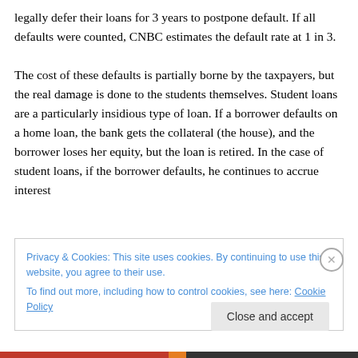legally defer their loans for 3 years to postpone default. If all defaults were counted, CNBC estimates the default rate at 1 in 3.
The cost of these defaults is partially borne by the taxpayers, but the real damage is done to the students themselves. Student loans are a particularly insidious type of loan. If a borrower defaults on a home loan, the bank gets the collateral (the house), and the borrower loses her equity, but the loan is retired. In the case of student loans, if the borrower defaults, he continues to accrue interest
Privacy & Cookies: This site uses cookies. By continuing to use this website, you agree to their use.
To find out more, including how to control cookies, see here: Cookie Policy